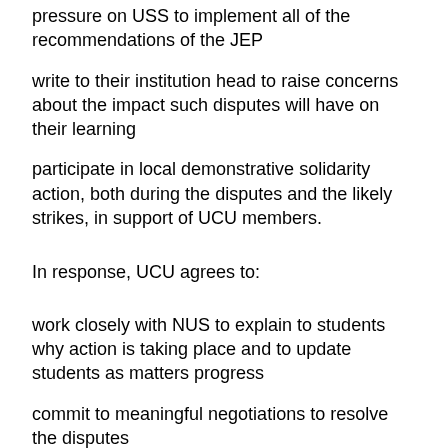pressure on USS to implement all of the recommendations of the JEP
write to their institution head to raise concerns about the impact such disputes will have on their learning
participate in local demonstrative solidarity action, both during the disputes and the likely strikes, in support of UCU members.
In response, UCU agrees to:
work closely with NUS to explain to students why action is taking place and to update students as matters progress
commit to meaningful negotiations to resolve the disputes